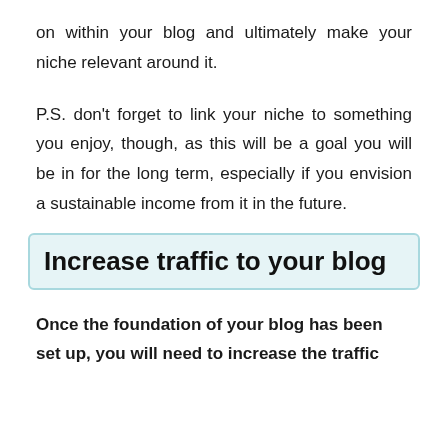on within your blog and ultimately make your niche relevant around it.
P.S. don't forget to link your niche to something you enjoy, though, as this will be a goal you will be in for the long term, especially if you envision a sustainable income from it in the future.
Increase traffic to your blog
Once the foundation of your blog has been set up, you will need to increase the traffic